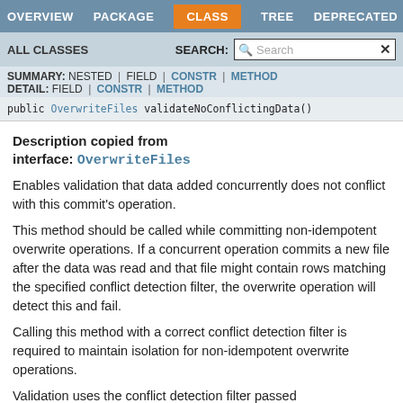OVERVIEW  PACKAGE  CLASS  TREE  DEPRECATED  INDEX
ALL CLASSES   SEARCH:  Search
SUMMARY: NESTED | FIELD | CONSTR | METHOD  DETAIL: FIELD | CONSTR | METHOD
public OverwriteFiles validateNoConflictingData()
Description copied from interface: OverwriteFiles
Enables validation that data added concurrently does not conflict with this commit's operation.
This method should be called while committing non-idempotent overwrite operations. If a concurrent operation commits a new file after the data was read and that file might contain rows matching the specified conflict detection filter, the overwrite operation will detect this and fail.
Calling this method with a correct conflict detection filter is required to maintain isolation for non-idempotent overwrite operations.
Validation uses the conflict detection filter passed